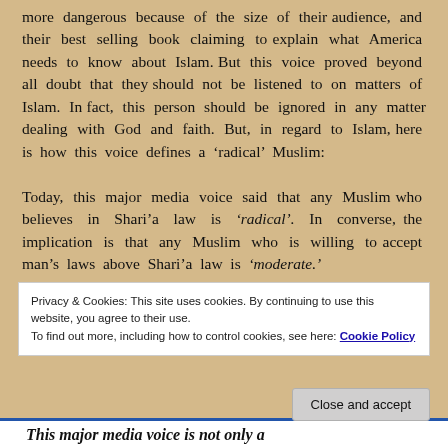more dangerous because of the size of their audience, and their best selling book claiming to explain what America needs to know about Islam. But this voice proved beyond all doubt that they should not be listened to on matters of Islam. In fact, this person should be ignored in any matter dealing with God and faith. But, in regard to Islam, here is how this voice defines a 'radical' Muslim:

Today, this major media voice said that any Muslim who believes in Shari'a law is 'radical.' In converse, the implication is that any Muslim who is willing to accept man's laws above Shari'a law is 'moderate.'
Privacy & Cookies: This site uses cookies. By continuing to use this website, you agree to their use.
To find out more, including how to control cookies, see here: Cookie Policy
Close and accept
This major media voice is not only a